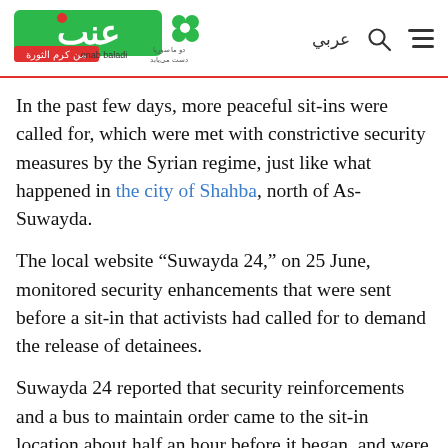Enab Baladi logo with Arabic navigation
In the past few days, more peaceful sit-ins were called for, which were met with constrictive security measures by the Syrian regime, just like what happened in the city of Shahba, north of As-Suwayda.
The local website “Suwayda 24,” on 25 June, monitored security enhancements that were sent before a sit-in that activists had called for to demand the release of detainees.
Suwayda 24 reported that security reinforcements and a bus to maintain order came to the sit-in location about half an hour before it began, and were stationed inside the government compound, where the gathering was to take place, causing the activists